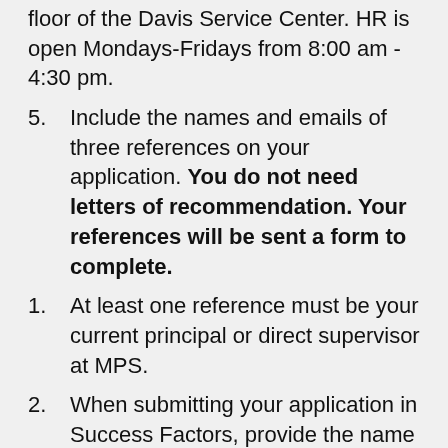floor of the Davis Service Center. HR is open Mondays-Fridays from 8:00 am - 4:30 pm.
5. Include the names and emails of three references on your application. You do not need letters of recommendation. Your references will be sent a form to complete.
1. At least one reference must be your current principal or direct supervisor at MPS.
2. When submitting your application in Success Factors, provide the name and email addresses of three references. Once your application is received your references will be emailed the reference form.